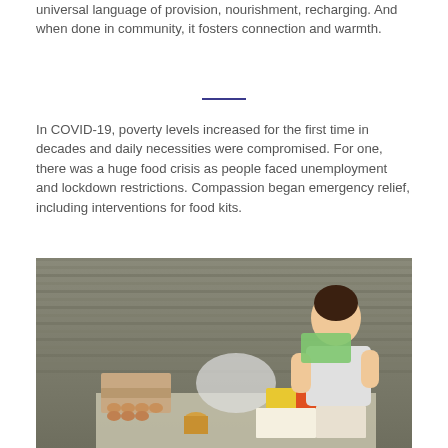universal language of provision, nourishment, recharging. And when done in community, it fosters connection and warmth.
In COVID-19, poverty levels increased for the first time in decades and daily necessities were compromised. For one, there was a huge food crisis as people faced unemployment and lockdown restrictions. Compassion began emergency relief, including interventions for food kits.
[Figure (photo): A young girl sitting against a corrugated metal wall, hugging a package, with a large spread of food items including eggs, canned goods, packaged foods, and other groceries laid out in front of her — a Compassion food kit.]